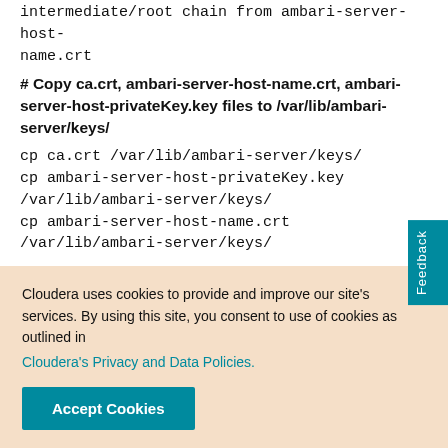intermediate/root chain from ambari-server-host-name.crt
# Copy ca.crt, ambari-server-host-name.crt, ambari-server-host-privateKey.key files to /var/lib/ambari-server/keys/
cp ca.crt /var/lib/ambari-server/keys/
cp ambari-server-host-privateKey.key /var/lib/ambari-server/keys/
cp ambari-server-host-name.crt /var/lib/ambari-server/keys/
# Update password for the keystore in a file (Assuming as 'changeit')
Cloudera uses cookies to provide and improve our site's services. By using this site, you consent to use of cookies as outlined in Cloudera's Privacy and Data Policies.
Accept Cookies